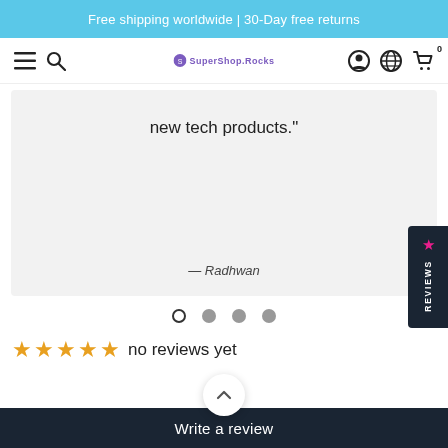Free shipping worldwide | 30-Day free returns
[Figure (screenshot): Navigation bar with hamburger menu, search icon, SuperShop.Rocks logo, account icon, globe icon, and cart icon with 0 badge]
new tech products."
— Radhwan
[Figure (other): Carousel dots: one open circle and three filled grey circles]
[Figure (other): Reviews sidebar tab with pink star and vertical 'Reviews' label]
no reviews yet
Write a review